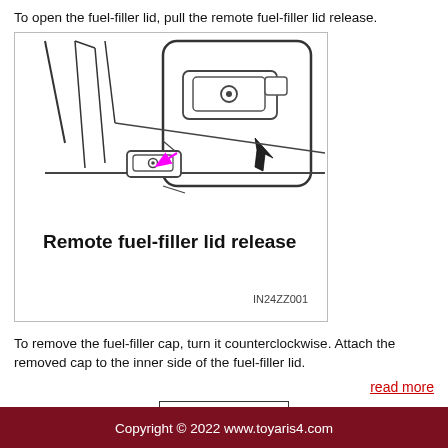To open the fuel-filler lid, pull the remote fuel-filler lid release.
[Figure (illustration): Line drawing showing the remote fuel-filler lid release lever location on the car interior floor, with a zoomed inset showing a hand pulling the release lever. Label reads 'Remote fuel-filler lid release' with code IN24ZZ001.]
To remove the fuel-filler cap, turn it counterclockwise. Attach the removed cap to the inner side of the fuel-filler lid.
read more
23
499
Copyright © 2022 www.toyaris4.com